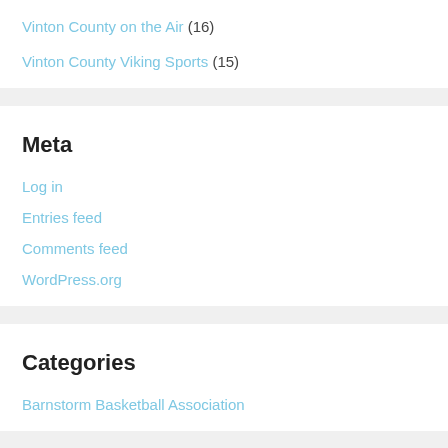Vinton County on the Air (16)
Vinton County Viking Sports (15)
Meta
Log in
Entries feed
Comments feed
WordPress.org
Categories
Barnstorm Basketball Association